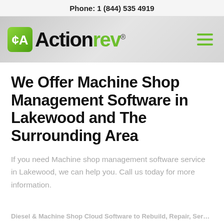Phone: 1 (844) 535 4919
[Figure (logo): Actionrev company logo with green icon and green/black wordmark, plus hamburger menu icon]
We Offer Machine Shop Management Software in Lakewood and The Surrounding Area
If you need Machine shop management software service in Lakewood, we can help you. Call us today for more information.
Diesel & Machine Shop Cloud Software to Rebuild, Repair, Service